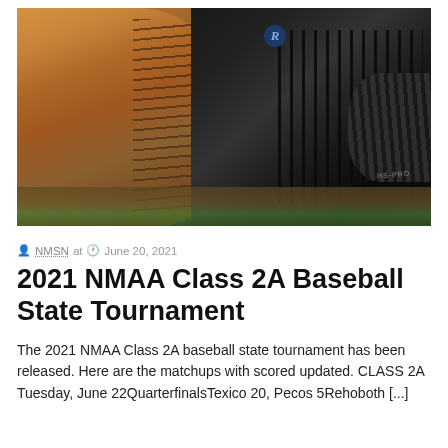[Figure (photo): Baseball glove (tan leather) on left and black catcher's mask on right, resting on dirt and grass ground]
NMSN at  June 20, 2021
2021 NMAA Class 2A Baseball State Tournament
The 2021 NMAA Class 2A baseball state tournament has been released. Here are the matchups with scored updated. CLASS 2A Tuesday, June 22QuarterfinalsTexico 20, Pecos 5Rehoboth [...]